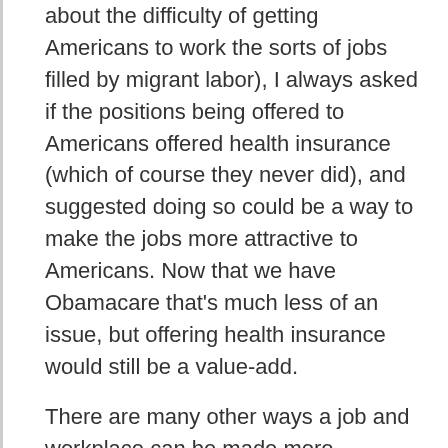about the difficulty of getting Americans to work the sorts of jobs filled by migrant labor), I always asked if the positions being offered to Americans offered health insurance (which of course they never did), and suggested doing so could be a way to make the jobs more attractive to Americans. Now that we have Obamacare that's much less of an issue, but offering health insurance would still be a value-add.
There are many other ways a job and workplace can be made more attractive:
The physical space can be made clean, safe, and pleasant.
Managers can be courteous, kind, and respectful.
The position can offer paths toward better jobs (promotions, training, mentorship, money for